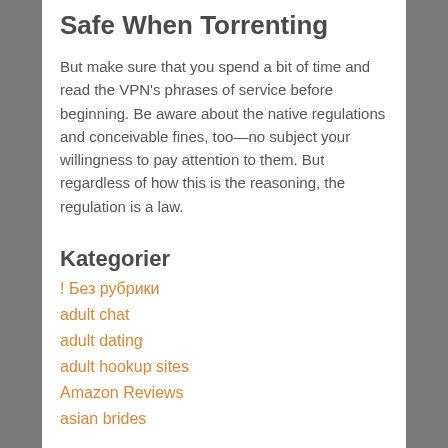Safe When Torrenting
But make sure that you spend a bit of time and read the VPN's phrases of service before beginning. Be aware about the native regulations and conceivable fines, too—no subject your willingness to pay attention to them. But regardless of how this is the reasoning, the regulation is a law.
Kategorier
! Без рубрики
adult chat
adult dating
adult hookup sites
Amazon Reviews
asian brides